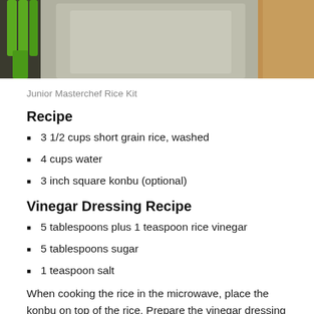[Figure (photo): A photo showing a green fork/utensil on the left, a transparent plastic bag or container in the center, and a wooden or brown surface on the right, cropped at the top of the page.]
Junior Masterchef Rice Kit
Recipe
3 1/2 cups short grain rice, washed
4 cups water
3 inch square konbu (optional)
Vinegar Dressing Recipe
5 tablespoons plus 1 teaspoon rice vinegar
5 tablespoons sugar
1 teaspoon salt
When cooking the rice in the microwave, place the konbu on top of the rice.  Prepare the vinegar dressing by